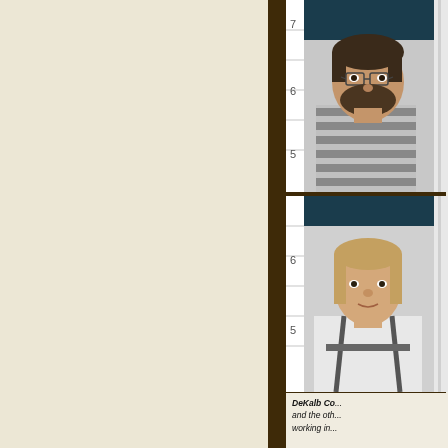[Figure (photo): Mugshot of a bearded man wearing a striped shirt, standing against a height measurement board with teal/dark blue background. Numbers 5, 6, 7 visible on ruler strip at left.]
[Figure (photo): Mugshot of a person with lighter hair wearing a white shirt with suspenders/harness, standing against a height measurement board with teal/dark blue background. Numbers 5, 6 visible on ruler strip at left.]
DeKalb Co... and the oth... working in...